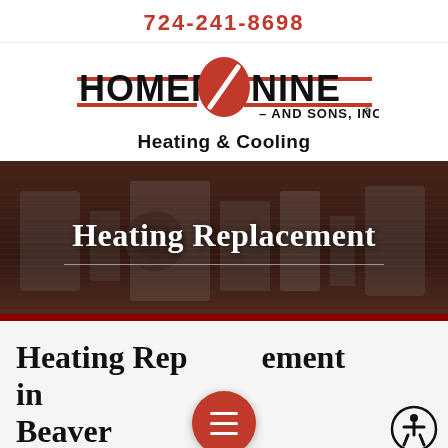724-241-8698
[Figure (logo): Homer Nine And Sons, Inc. logo with red swoosh/circle graphic between HOMER and NINE text, and 'Heating & Cooling' subtext below]
[Figure (photo): Dark brownish-red hero banner with heating/HVAC equipment visible in background, overlaid with white text 'Heating Replacement' and a horizontal dividing line]
Heating Replacement in Beaver